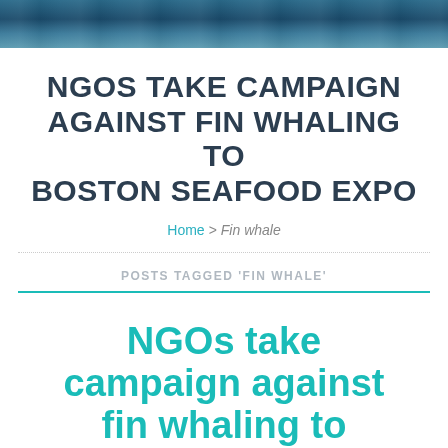[Figure (photo): Dark blue ocean water background image at the top of the page]
NGOS TAKE CAMPAIGN AGAINST FIN WHALING TO BOSTON SEAFOOD EXPO
Home > Fin whale
POSTS TAGGED 'FIN WHALE'
NGOs take campaign against fin whaling to